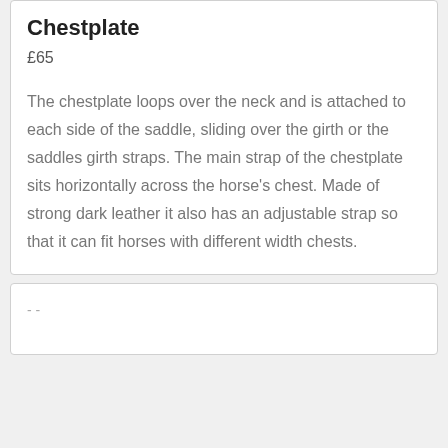Chestplate
£65
The chestplate loops over the neck and is attached to each side of the saddle, sliding over the girth or the saddles girth straps. The main strap of the chestplate sits horizontally across the horse's chest. Made of strong dark leather it also has an adjustable strap so that it can fit horses with different width chests.
- -